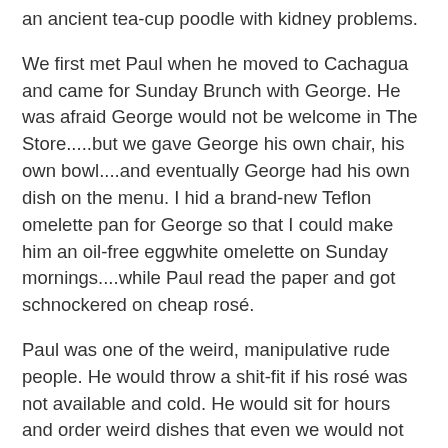an ancient tea-cup poodle with kidney problems.
We first met Paul when he moved to Cachagua and came for Sunday Brunch with George. He was afraid George would not be welcome in The Store.....but we gave George his own chair, his own bowl....and eventually George had his own dish on the menu. I hid a brand-new Teflon omelette pan for George so that I could make him an oil-free eggwhite omelette on Sunday mornings....while Paul read the paper and got schnockered on cheap rosé.
Paul was one of the weird, manipulative rude people. He would throw a shit-fit if his rosé was not available and cold. He would sit for hours and order weird dishes that even we would not cook. And under tip, or not tip at all. Paul was so weird and manipulative and creepy that we figured he was probably a serial killer. Really. Not so strange for Cachagua.....we have other guys like that.
But we loved George....and the whole idea of George. George was kind and polite and humble and appreciative. And owned by Paul....who was such a creep we actually